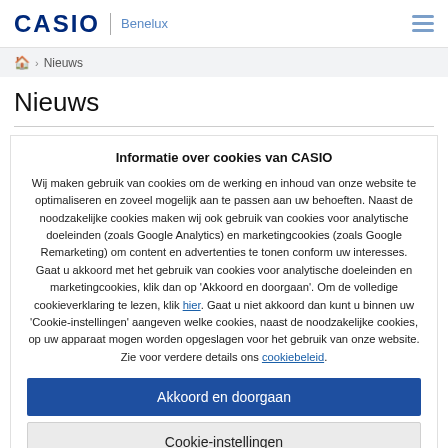CASIO | Benelux
🏠 > Nieuws
Nieuws
Informatie over cookies van CASIO
Wij maken gebruik van cookies om de werking en inhoud van onze website te optimaliseren en zoveel mogelijk aan te passen aan uw behoeften. Naast de noodzakelijke cookies maken wij ook gebruik van cookies voor analytische doeleinden (zoals Google Analytics) en marketingcookies (zoals Google Remarketing) om content en advertenties te tonen conform uw interesses. Gaat u akkoord met het gebruik van cookies voor analytische doeleinden en marketingcookies, klik dan op 'Akkoord en doorgaan'. Om de volledige cookieverklaring te lezen, klik hier. Gaat u niet akkoord dan kunt u binnen uw 'Cookie-instellingen' aangeven welke cookies, naast de noodzakelijke cookies, op uw apparaat mogen worden opgeslagen voor het gebruik van onze website. Zie voor verdere details ons cookiebeleid.
Akkoord en doorgaan
Cookie-instellingen